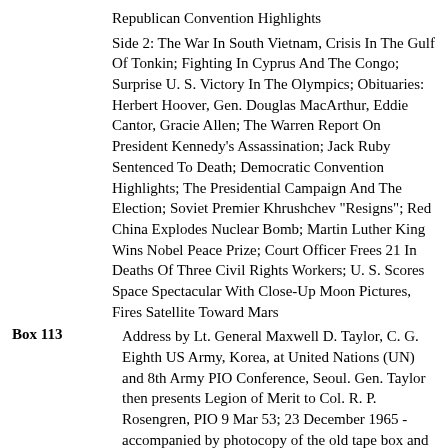Republican Convention Highlights
Side 2: The War In South Vietnam, Crisis In The Gulf Of Tonkin; Fighting In Cyprus And The Congo; Surprise U. S. Victory In The Olympics; Obituaries: Herbert Hoover, Gen. Douglas MacArthur, Eddie Cantor, Gracie Allen; The Warren Report On President Kennedy's Assassination; Jack Ruby Sentenced To Death; Democratic Convention Highlights; The Presidential Campaign And The Election; Soviet Premier Khrushchev "Resigns"; Red China Explodes Nuclear Bomb; Martin Luther King Wins Nobel Peace Prize; Court Officer Frees 21 In Deaths Of Three Civil Rights Workers; U. S. Scores Space Spectacular With Close-Up Moon Pictures, Fires Satellite Toward Mars
Box 113 — Address by Lt. General Maxwell D. Taylor, C. G. Eighth US Army, Korea, at United Nations (UN) and 8th Army PIO Conference, Seoul. Gen. Taylor then presents Legion of Merit to Col. R. P. Rosengren, PIO 9 Mar 53; 23 December 1965 - accompanied by photocopy of the old tape box and a letter from Colonel R. P. Rosengren to Bob Considine (1/4 inch audio tape) (ID#: